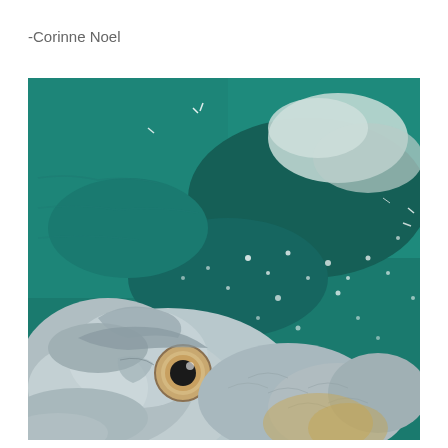-Corinne Noel
[Figure (photo): Close-up photograph of a large fish (tarpon) being held near the water surface. The fish's head and large eye are prominently visible in the lower-left portion of the image, with its silvery scales and large mouth visible. The background shows dark teal/green ocean water with white foam and bubbles.]